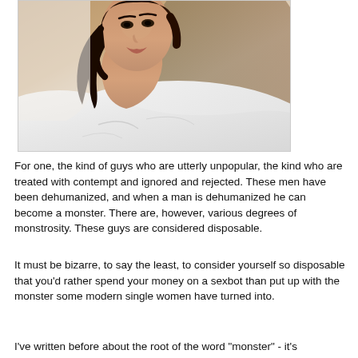[Figure (photo): Close-up photo of a young woman with dark hair wearing a white top, lying down, cropped from shoulders up]
For one, the kind of guys who are utterly unpopular, the kind who are treated with contempt and ignored and rejected. These men have been dehumanized, and when a man is dehumanized he can become a monster. There are, however, various degrees of monstrosity. These guys are considered disposable.
It must be bizarre, to say the least, to consider yourself so disposable that you'd rather spend your money on a sexbot than put up with the monster some modern single women have turned into.
I've written before about the root of the word "monster" - it's